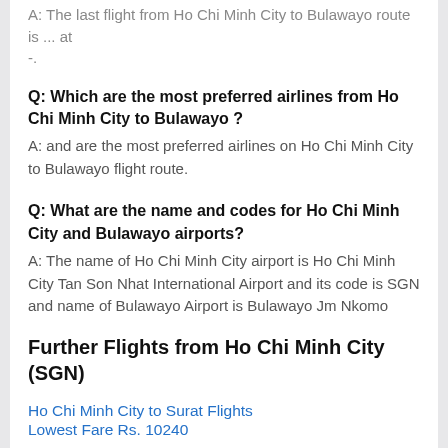A: The last flight from Ho Chi Minh City to Bulawayo route is ... at
-.
Q: Which are the most preferred airlines from Ho Chi Minh City to Bulawayo ?
A: and are the most preferred airlines on Ho Chi Minh City to Bulawayo flight route.
Q: What are the name and codes for Ho Chi Minh City and Bulawayo airports?
A: The name of Ho Chi Minh City airport is Ho Chi Minh City Tan Son Nhat International Airport and its code is SGN and name of Bulawayo Airport is Bulawayo Jm Nkomo Airport, its code is BUQ.
Further Flights from Ho Chi Minh City (SGN)
Ho Chi Minh City to Surat Flights
Lowest Fare Rs. 10240
Ho Chi Minh City to Qatar Flights